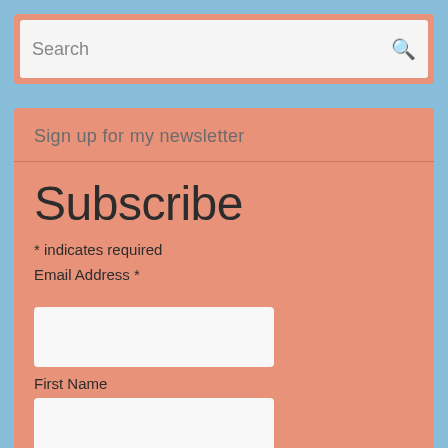[Figure (screenshot): Search bar input field with placeholder text 'Search' and a magnifying glass icon on the right, on a salmon/orange background]
Sign up for my newsletter
Subscribe
* indicates required
Email Address *
First Name
Last Name